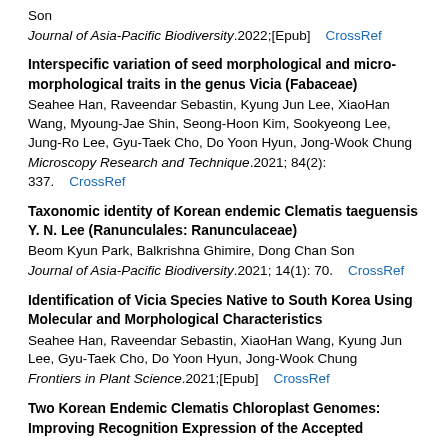Son
Journal of Asia-Pacific Biodiversity.2022;[Epub]    CrossRef
Interspecific variation of seed morphological and micro-morphological traits in the genus Vicia (Fabaceae)
Seahee Han, Raveendar Sebastin, Kyung Jun Lee, XiaoHan Wang, Myoung-Jae Shin, Seong-Hoon Kim, Sookyeong Lee, Jung-Ro Lee, Gyu-Taek Cho, Do Yoon Hyun, Jong-Wook Chung
Microscopy Research and Technique.2021; 84(2): 337.    CrossRef
Taxonomic identity of Korean endemic Clematis taeguensis Y. N. Lee (Ranunculales: Ranunculaceae)
Beom Kyun Park, Balkrishna Ghimire, Dong Chan Son
Journal of Asia-Pacific Biodiversity.2021; 14(1): 70.    CrossRef
Identification of Vicia Species Native to South Korea Using Molecular and Morphological Characteristics
Seahee Han, Raveendar Sebastin, XiaoHan Wang, Kyung Jun Lee, Gyu-Taek Cho, Do Yoon Hyun, Jong-Wook Chung
Frontiers in Plant Science.2021;[Epub]    CrossRef
Two Korean Endemic Clematis Chloroplast Genomes: Improving Recognition Expression of the Accepted...